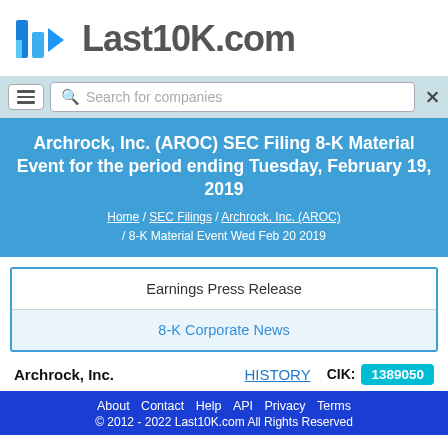[Figure (logo): Last10K.com logo with blue geometric bar chart icon and gray text]
Search for companies
Archrock, Inc. (AROC) SEC Filing 8-K Material Event for the period ending Tuesday, February 19, 2019
Home / SEC Filings / Archrock, Inc. (AROC) / 8-K Material Event Wed Feb 20 2019
| Earnings Press Release |
| 8-K Corporate News |
Archrock, Inc.   HISTORY   CIK: 1389050
About  Contact  Help  API  Privacy  Terms  © 2012 - 2022 Last10K.com All Rights Reserved